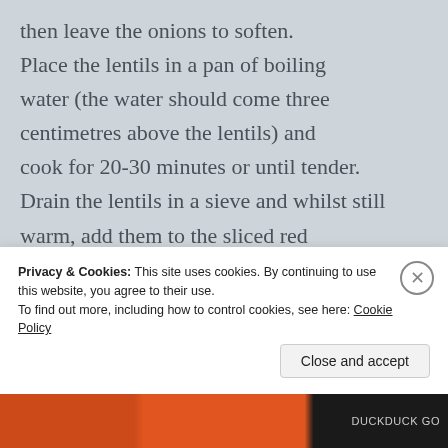then leave the onions to soften. Place the lentils in a pan of boiling water (the water should come three centimetres above the lentils) and cook for 20-30 minutes or until tender. Drain the lentils in a sieve and whilst still warm, add them to the sliced red onion. Next, add the extra virgin olive oil, garlic and some black pepper. Stir to mix and leave aside to cool down.
Privacy & Cookies: This site uses cookies. By continuing to use this website, you agree to their use. To find out more, including how to control cookies, see here: Cookie Policy
Close and accept